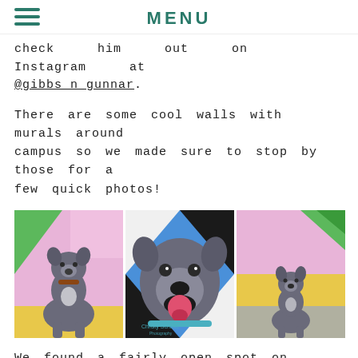MENU
check him out on Instagram at @gibbs_n_gunnar.
There are some cool walls with murals around campus so we made sure to stop by those for a few quick photos!
[Figure (photo): Three photos of a gray Pit Bull dog in front of colorful mural walls on campus. Left photo shows the dog sitting facing left. Center photo is a close-up portrait of the dog with mouth open and tongue out. Right photo shows the dog sitting facing forward. Center photo watermarked 'Christy Schulte Photography'.]
We found a fairly open spot on campus for photos where we could really show off Gibbs' good looks and capture beautiful bokeh behind